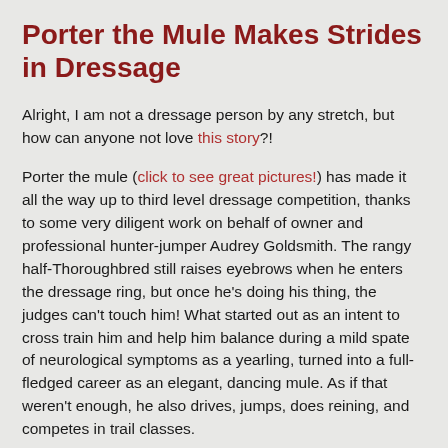Porter the Mule Makes Strides in Dressage
Alright, I am not a dressage person by any stretch, but how can anyone not love this story?!
Porter the mule (click to see great pictures!) has made it all the way up to third level dressage competition, thanks to some very diligent work on behalf of owner and professional hunter-jumper Audrey Goldsmith. The rangy half-Thoroughbred still raises eyebrows when he enters the dressage ring, but once he's doing his thing, the judges can't touch him! What started out as an intent to cross train him and help him balance during a mild spate of neurological symptoms as a yearling, turned into a full-fledged career as an elegant, dancing mule. As if that weren't enough, he also drives, jumps, does reining, and competes in trail classes.
Interestingly, Goldsmith explains in the article that mules aren't really so different from horses – except that they have a stronger flight instinct and so you have to be prepared for